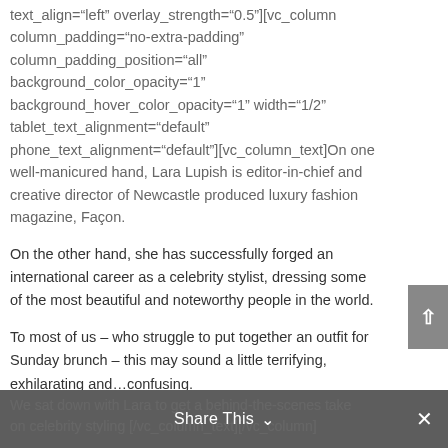text_align="left" overlay_strength="0.5"][vc_column column_padding="no-extra-padding" column_padding_position="all" background_color_opacity="1" background_hover_color_opacity="1" width="1/2" tablet_text_alignment="default" phone_text_alignment="default"][vc_column_text]On one well-manicured hand, Lara Lupish is editor-in-chief and creative director of Newcastle produced luxury fashion magazine, Façon.
On the other hand, she has successfully forged an international career as a celebrity stylist, dressing some of the most beautiful and noteworthy people in the world.
To most of us – who struggle to put together an outfit for Sunday brunch – this may sound a little terrifying, exhilarating and…confusing.
We sat down with Lara to get a behind-the-scenes take on celebrity styling [/vc_column_text][/vc_column]
Share This ∨  ×